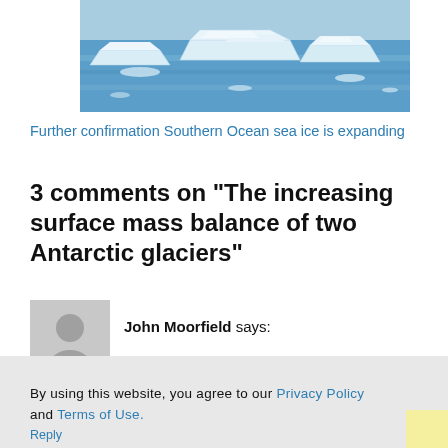[Figure (photo): Aerial/wide view of Southern Ocean sea ice — blue water with white ice chunks and icebergs floating on the surface.]
Further confirmation Southern Ocean sea ice is expanding
3 comments on “The increasing surface mass balance of two Antarctic glaciers”
John Moorfield says:
By using this website, you agree to our Privacy Policy and Terms of Use.
ACCEPT